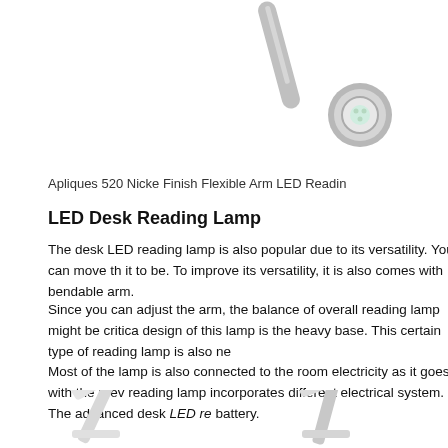[Figure (photo): Top portion of a nickel finish flexible arm LED reading lamp, showing the lamp head with LED light, partially cut off at top of page]
Apliques 520 Nicke Finish Flexible Arm LED Readin
LED Desk Reading Lamp
The desk LED reading lamp is also popular due to its versatility. You can move the it to be. To improve its versatility, it is also comes with bendable arm.
Since you can adjust the arm, the balance of overall reading lamp might be critical design of this lamp is the heavy base. This certain type of reading lamp is also ne
Most of the lamp is also connected to the room electricity as it goes with the prev reading lamp incorporates different electrical system. The advanced desk LED re battery.
[Figure (photo): Bottom portion of page showing two LED desk reading lamps side by side, partially cut off at the bottom of the page]